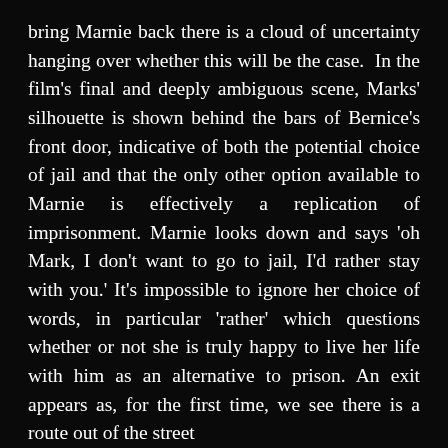bring Marnie back there is a cloud of uncertainty hanging over whether this will be the case.  In the film's final and deeply ambiguous scene, Marks' silhouette is shown behind the bars of Bernice's front door, indicative of both the potential choice of jail and that the only other option available to Marnie is effectively a replication of imprisonment. Marnie looks down and says 'oh Mark, I don't want to go to jail, I'd rather stay with you.' It's impossible to ignore her choice of words, in particular 'rather' which questions whether or not she is truly happy to live her life with him as an alternative to prison. An exit appears as, for the first time, we see there is a route out of the street